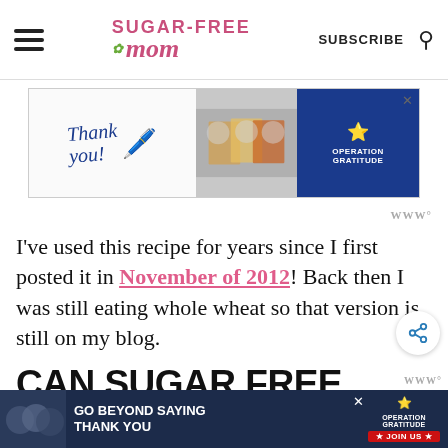Sugar-Free Mom — SUBSCRIBE
[Figure (photo): Operation Gratitude advertisement showing healthcare workers holding thank you cards with pencil graphic and American flag design]
I've used this recipe for years since I first posted it in November of 2012! Back then I was still eating whole wheat so that version is still on my blog.
CAN SUGAR FREE PUMPKIN PIE BE
[Figure (photo): Operation Gratitude bottom banner ad: Go Beyond Saying Thank You — Join Us]